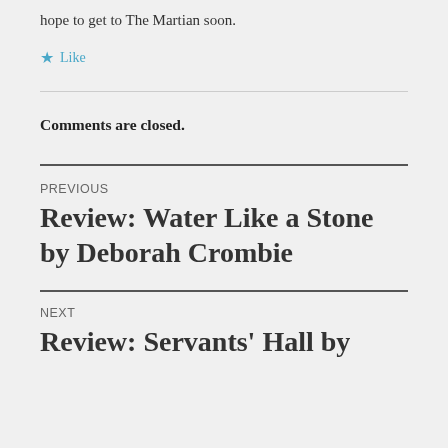hope to get to The Martian soon.
★ Like
Comments are closed.
PREVIOUS
Review: Water Like a Stone by Deborah Crombie
NEXT
Review: Servants' Hall by